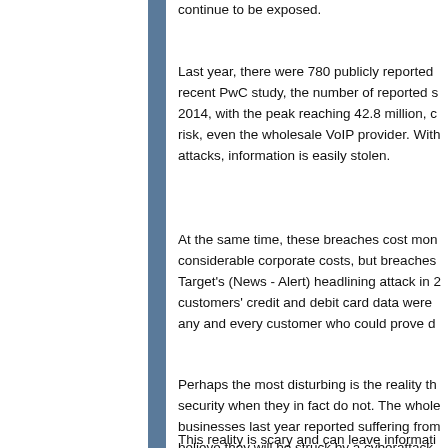continue to be exposed.
Last year, there were 780 publicly reported recent PwC study, the number of reported s 2014, with the peak reaching 42.8 million, c risk, even the wholesale VoIP provider. Wit attacks, information is easily stolen.
At the same time, these breaches cost mon considerable corporate costs, but breaches Target's (News - Alert) headlining attack in 2 customers' credit and debit card data were any and every customer who could prove d
Perhaps the most disturbing is the reality th security when they in fact do not. The whole businesses last year reported suffering from believe they will be struck by a cyberattack.
This reality is scary and can leave informati necessary steps to secure your users and y